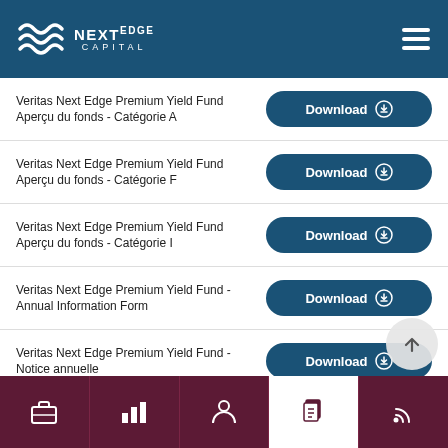Next Edge Capital
Veritas Next Edge Premium Yield Fund Aperçu du fonds - Catégorie A
Veritas Next Edge Premium Yield Fund Aperçu du fonds - Catégorie F
Veritas Next Edge Premium Yield Fund Aperçu du fonds - Catégorie I
Veritas Next Edge Premium Yield Fund - Annual Information Form
Veritas Next Edge Premium Yield Fund - Notice annuelle